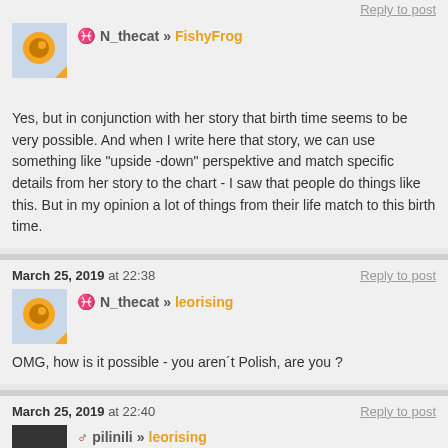March 25, 2019 at 22:35 — Reply to post
N_thecat » FishyFrog
Yes, but in conjunction with her story that birth time seems to be very possible. And when I write here that story, we can use something like "upside -down" perspektive and match specific details from her story to the chart - I saw that people do things like this. But in my opinion a lot of things from their life match to this birth time.
March 25, 2019 at 22:38 — Reply to post
N_thecat » leorising
OMG, how is it possible - you aren´t Polish, are you ?
March 25, 2019 at 22:40 — Reply to post
pilinili » leorising